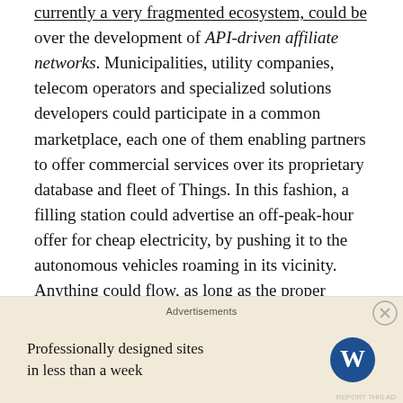currently a very fragmented ecosystem, could be over the development of API-driven affiliate networks. Municipalities, utility companies, telecom operators and specialized solutions developers could participate in a common marketplace, each one of them enabling partners to offer commercial services over its proprietary database and fleet of Things. In this fashion, a filling station could advertise an off-peak-hour offer for cheap electricity, by pushing it to the autonomous vehicles roaming in its vicinity. Anything could flow, as long as the proper plumbing (= API) is in place…
Final Thoughts
[Figure (other): Advertisement banner: 'Professionally designed sites in less than a week' with WordPress logo]